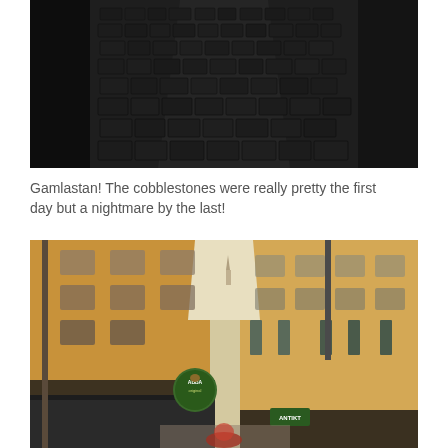[Figure (photo): Dark cobblestone street in Gamla Stan (Old Town), Stockholm, viewed from above at an angle. The scene is dim with dark grey cobblestones filling the frame.]
Gamlastan! The cobblestones were really pretty the first day but a nightmare by the last!
[Figure (photo): Narrow street in Gamla Stan (Old Town), Stockholm, flanked by tall ochre/yellow buildings with shuttered windows. Shop signs including ABBA original and ANTIKT (antiques) hang from the buildings. A church spire is visible in the background between the buildings.]